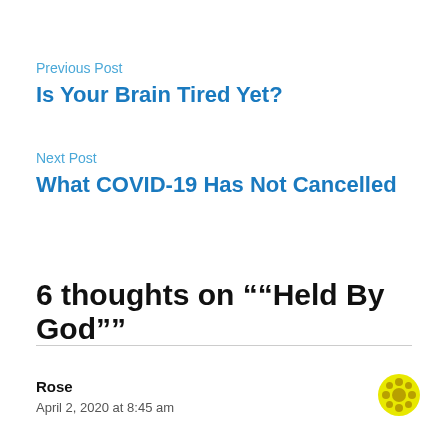Previous Post
Is Your Brain Tired Yet?
Next Post
What COVID-19 Has Not Cancelled
6 thoughts on "“Held By God”"
Rose
April 2, 2020 at 8:45 am